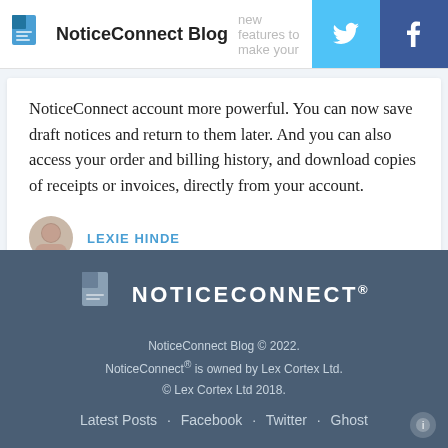NoticeConnect Blog  new features to make your
NoticeConnect account more powerful. You can now save draft notices and return to them later. And you can also access your order and billing history, and download copies of receipts or invoices, directly from your account.
LEXIE HINDE
NoticeConnect Blog © 2022. NoticeConnect® is owned by Lex Cortex Ltd. © Lex Cortex Ltd 2018. Latest Posts · Facebook · Twitter · Ghost